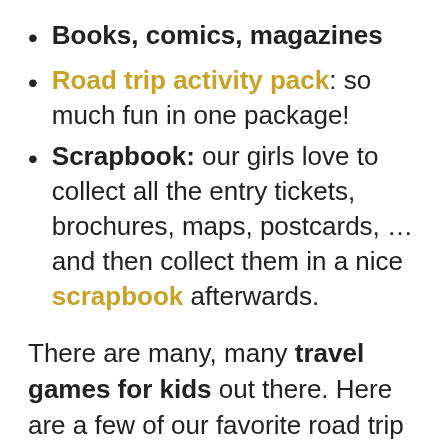Books, comics, magazines
Road trip activity pack: so much fun in one package!
Scrapbook: our girls love to collect all the entry tickets, brochures, maps, postcards, … and then collect them in a nice scrapbook afterwards.
There are many, many travel games for kids out there. Here are a few of our favorite road trip games for